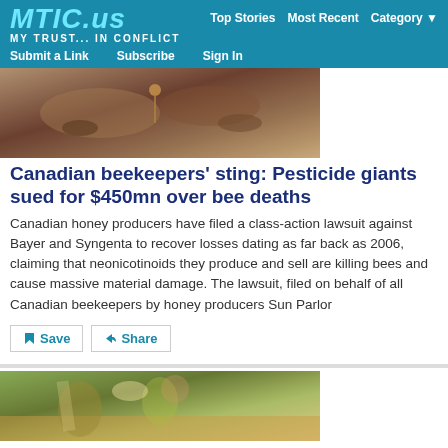MTIC.us — My Trust... In Conflict | Top Stories  Most Recent  Category
Submit a Link  Subscribe  Sign In
[Figure (photo): Close-up photo of bees on honeycomb]
Canadian beekeepers' sting: Pesticide giants sued for $450mn over bee deaths
Canadian honey producers have filed a class-action lawsuit against Bayer and Syngenta to recover losses dating as far back as 2006, claiming that neonicotinoids they produce and sell are killing bees and cause massive material damage. The lawsuit, filed on behalf of all Canadian beekeepers by honey producers Sun Parlor
[Figure (photo): Photo of farmers harvesting rice in field wearing hats]